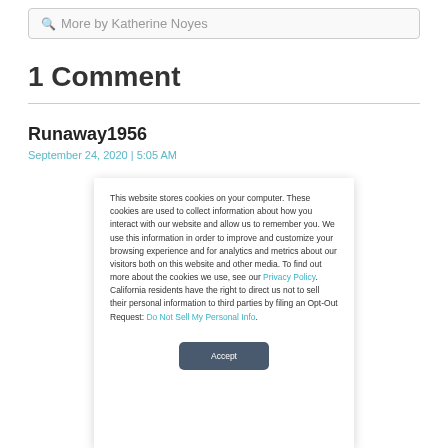🔍 More by Katherine Noyes
1 Comment
Runaway1956
This website stores cookies on your computer. These cookies are used to collect information about how you interact with our website and allow us to remember you. We use this information in order to improve and customize your browsing experience and for analytics and metrics about our visitors both on this website and other media. To find out more about the cookies we use, see our Privacy Policy. California residents have the right to direct us not to sell their personal information to third parties by filing an Opt-Out Request: Do Not Sell My Personal Info.
Accept